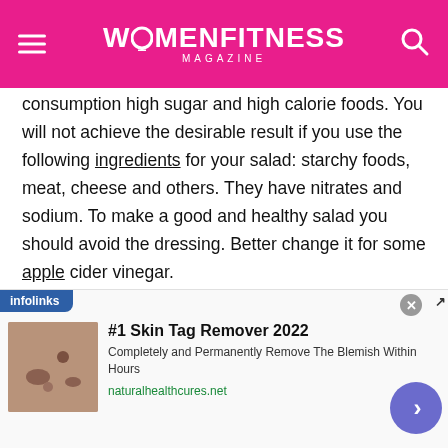WOMENFITNESS MAGAZINE
consumption high sugar and high calorie foods. You will not achieve the desirable result if you use the following ingredients for your salad: starchy foods, meat, cheese and others. They have nitrates and sodium. To make a good and healthy salad you should avoid the dressing. Better change it for some apple cider vinegar.
6. Vegetables are important
[Figure (screenshot): Infolinks advertisement banner: #1 Skin Tag Remover 2022 - Completely and Permanently Remove The Blemish Within Hours - naturalhealthcures.net]